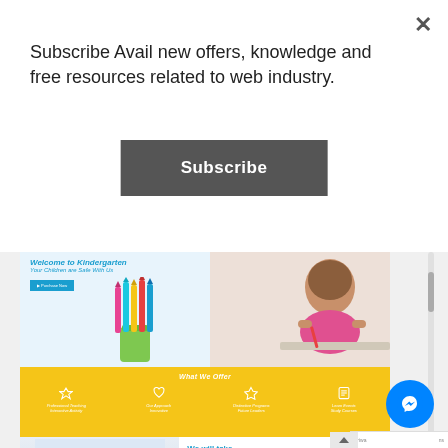Subscribe Avail new offers, knowledge and free resources related to web industry.
[Figure (other): Subscribe button (dark gray rectangular button with white bold text 'Subscribe')]
[Figure (screenshot): Screenshot of a kindergarten website showing: hero section with 'Welcome to Kindergarten / Your Children are Safe With Us', a yellow 'What We Offer' section with four icons, and a lower section with 'We will take care of your kids' heading and Popular Information subheading, with a boy with glasses photo on the left and a Messenger chat button overlay.]